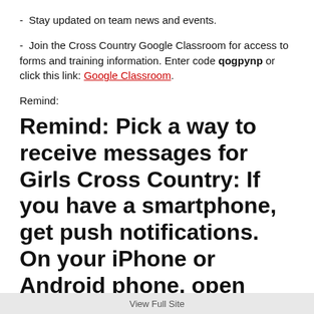-  Stay updated on team news and events.
-  Join the Cross Country Google Classroom for access to forms and training information. Enter code qogpynp or click this link: Google Classroom.
Remind:
Remind: Pick a way to receive messages for Girls Cross Country: If you have a smartphone, get push notifications. On your iPhone or Android phone, open your web browser and go to the following
View Full Site